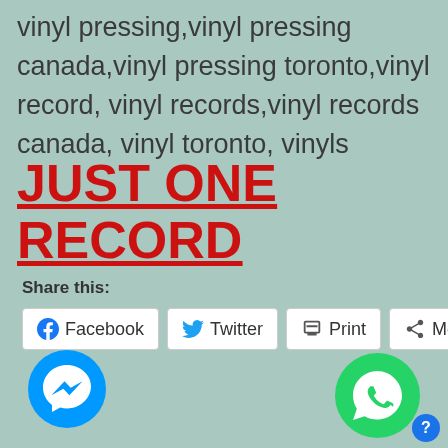vinyl pressing,vinyl pressing canada,vinyl pressing toronto,vinyl record, vinyl records,vinyl records canada, vinyl toronto, vinyls
JUST ONE RECORD
Share this:
[Figure (screenshot): Share buttons row: Facebook, Twitter, Print, More]
[Figure (logo): Facebook Messenger chat button (blue circle with white lightning bolt/chat icon)]
[Figure (logo): WhatsApp button (green circle with white phone icon)]
[Figure (other): Help/info button (small blue circle with question mark)]